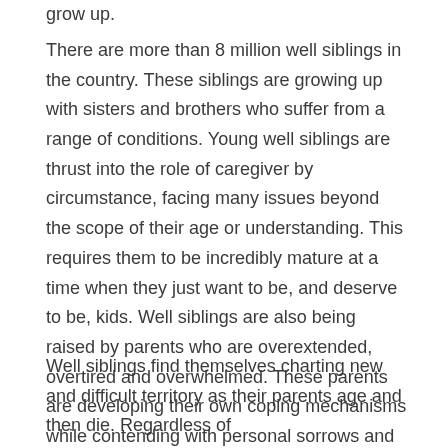grow up.
There are more than 8 million well siblings in the country. These siblings are growing up with sisters and brothers who suffer from a range of conditions. Young well siblings are thrust into the role of caregiver by circumstance, facing many issues beyond the scope of their age or understanding. This requires them to be incredibly mature at a time when they just want to be, and deserve to be, kids. Well siblings are also being raised by parents who are overextended, overtired and overwhelmed. These parents are developing their own coping mechanisms while contending with personal sorrows and fears for their special needs child.
Well siblings find themselves charting new and difficult territory as their parents age and then die. Regardless of